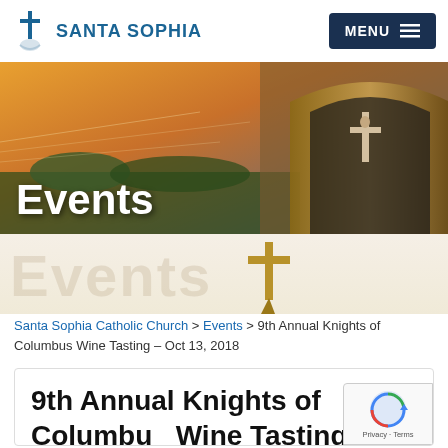SANTA SOPHIA | MENU
[Figure (photo): Hero banner showing a church exterior with warm sunset light and an arched ceiling with crucifix; white bold text 'Events' overlaid at bottom left]
[Figure (illustration): Watermark section with faint 'Events' text and a gold cross icon on a beige/tan gradient background]
Santa Sophia Catholic Church > Events > 9th Annual Knights of Columbus Wine Tasting – Oct 13, 2018
9th Annual Knights of Columbus Wine Tasting – Oct 13, 2018